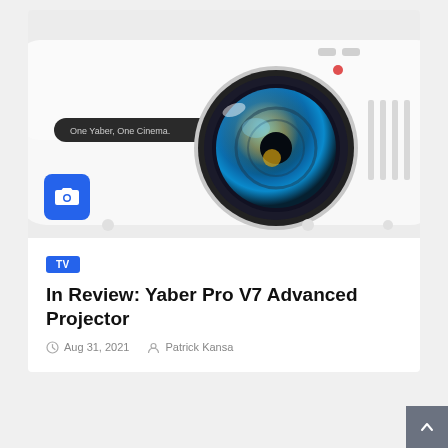[Figure (photo): Close-up photo of a white Yaber projector with a large multi-coated lens showing blue/gold reflections, a dark label reading 'One Yaber, One Cinema.' on the side, ventilation grilles on the right, and control buttons on top. A blue camera icon badge is overlaid in the lower-left corner of the image.]
TV
In Review: Yaber Pro V7 Advanced Projector
Aug 31, 2021   Patrick Kansa